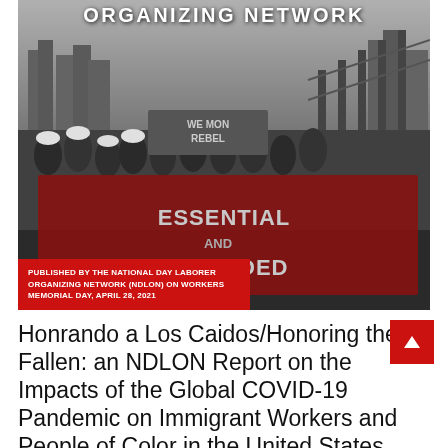[Figure (photo): Black and white photograph of a large protest march on a bridge. Workers wearing hard hats and holding signs and banners. A large illustrated banner reads 'ESSENTIAL AND EXCLUDED'. Another banner reads 'WE MON[EY] REBEL'. City skyline visible in background.]
ORGANIZING NETWORK
PUBLISHED BY THE NATIONAL DAY LABORER ORGANIZING NETWORK (NDLON) ON WORKERS MEMORIAL DAY, APRIL 28, 2021
Honrando a Los Caidos/Honoring the Fallen: an NDLON Report on the Impacts of the Global COVID-19 Pandemic on Immigrant Workers and People of Color in the United States